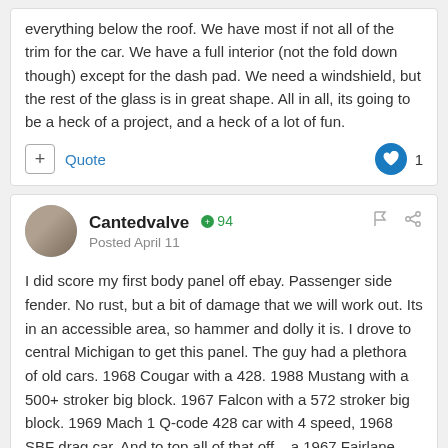everything below the roof.  We have most if not all of the trim for the car.  We have a full interior (not the fold down though) except for the dash pad.  We need a windshield, but the rest of the glass is in great shape.  All in all, its going to be a heck of a project, and a heck of a lot of fun.
+ Quote  [like heart icon] 1
Cantedvalve  +94
Posted April 11
I did score my first body panel off ebay.  Passenger side fender.  No rust, but a bit of damage that we will work out.  Its in an accessible area, so hammer and dolly it is.  I drove to central Michigan to get this panel.  The guy had a plethora of old cars.  1968 Cougar with a 428.  1988 Mustang with a 500+ stroker big block.  1967 Falcon with a 572 stroker big block.  1969 Mach 1 Q-code 428 car with 4 speed, 1968 SBF drag car.  And to top all of that off... a 1967 Fairlane with a 427 SOHC engine.  Was a really cool visit!
[Figure (photo): Bottom strip showing a photo of old cars or car parts on the ground, partially visible]